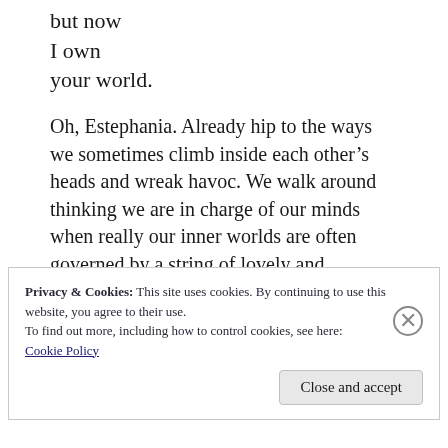but now
I own
your world.
Oh, Estephania. Already hip to the ways we sometimes climb inside each other’s heads and wreak havoc. We walk around thinking we are in charge of our minds when really our inner worlds are often governed by a string of lovely and terrifying potentates. (Animal, vegetable, mineral, people, places, things—personally, I could make a long list.)
Privacy & Cookies: This site uses cookies. By continuing to use this website, you agree to their use.
To find out more, including how to control cookies, see here:
Cookie Policy
Close and accept